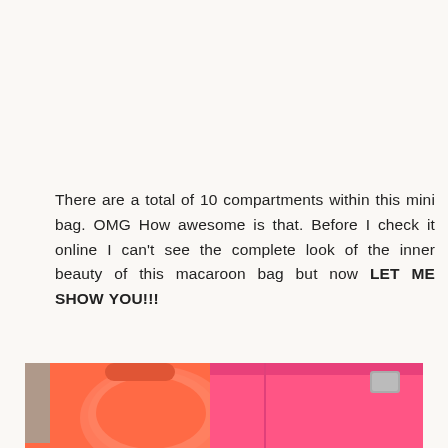There are a total of 10 compartments within this mini bag. OMG How awesome is that. Before I check it online I can't see the complete look of the inner beauty of this macaroon bag but now LET ME SHOW YOU!!!
[Figure (photo): Close-up photo of a bright pink/coral macaroon bag showing the exterior and interior compartments, with orange lining visible inside.]